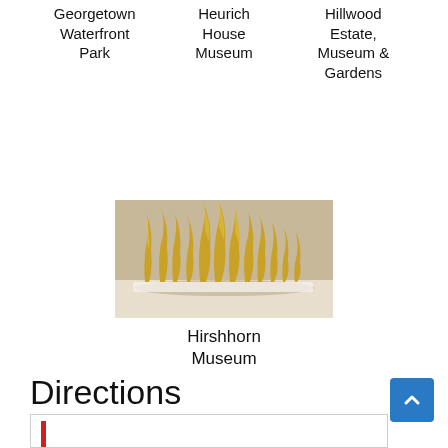Georgetown Waterfront Park
Heurich House Museum
Hillwood Estate, Museum & Gardens
[Figure (photo): Interior museum photo showing golden/bronze sculptural plant-like forms installed on a white floor against a neutral background — Hirshhorn Museum artwork installation]
Hirshhorn Museum
Directions
[Figure (other): Directions input box with red vertical bar accent on the left side]